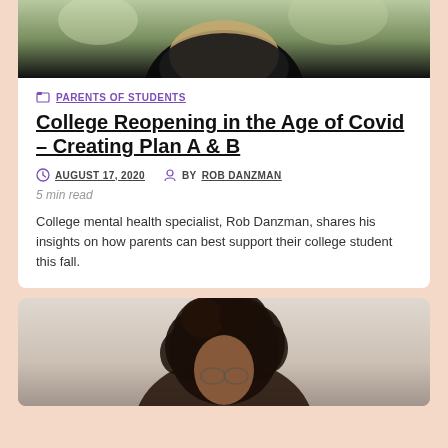[Figure (photo): Top portion of a person wearing a black outfit with a tan/beige scarf or jacket, shown from mid-torso upward with outdoor blurred background]
PARENTS OF STUDENTS
College Reopening in the Age of Covid – Creating Plan A & B
AUGUST 17, 2020  BY ROB DANZMAN
5 min read
College mental health specialist, Rob Danzman, shares his insights on how parents can best support their college student this fall.
[Figure (photo): Person with natural curly hair, shown from approximately shoulders up, light background]